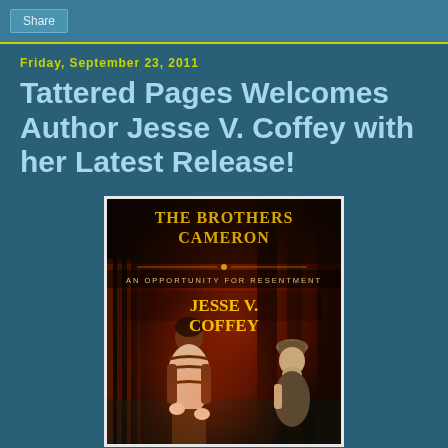Share
Friday, September 23, 2011
Tattered Pages Welcomes Author Jesse V. Coffey with her Latest Release!
[Figure (illustration): Book cover for 'The Brothers Cameron: An Opportunity for Resentment' by Jesse V. Coffey, featuring two fantasy figures in a dark reddish dungeon-like setting with golden title text.]